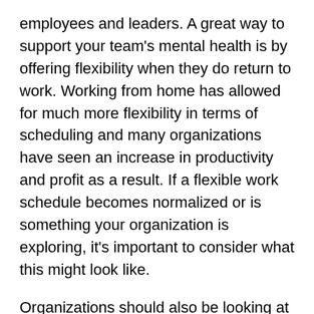employees and leaders. A great way to support your team's mental health is by offering flexibility when they do return to work. Working from home has allowed for much more flexibility in terms of scheduling and many organizations have seen an increase in productivity and profit as a result. If a flexible work schedule becomes normalized or is something your organization is exploring, it's important to consider what this might look like.
Organizations should also be looking at their employee assistance programs. Call your benefits provider and get informed about what you are already paying for. Remind employees of what these benefits are and encourage them to take advantage of them. If you are choosing to remain remote or are considering a hybrid model, ensure you are providing employees with the tools and resources needed to complete their work. We've learned throughout the pandemic that better use of technology allows for better teamwork, productivity and key